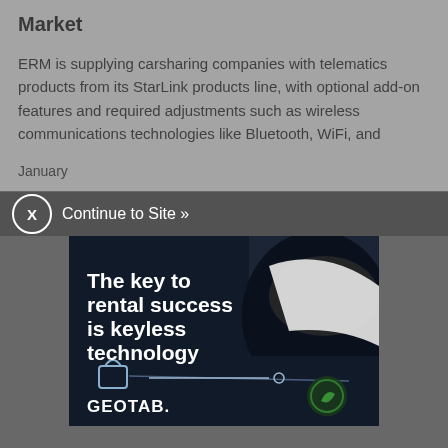Market
ERM is supplying carsharing companies with telematics products from its StarLink products line, with optional add-on features and required adjustments such as wireless communications technologies like Bluetooth, WiFi, and
January
[Figure (infographic): Advertisement overlay with close button (X in a circle) and 'Continue to Site »' text bar, followed by a Geotab ad featuring the text 'The key to rental success is keyless technology' with a dark background showing a smartphone and car image, and GEOTAB brand logo at the bottom.]